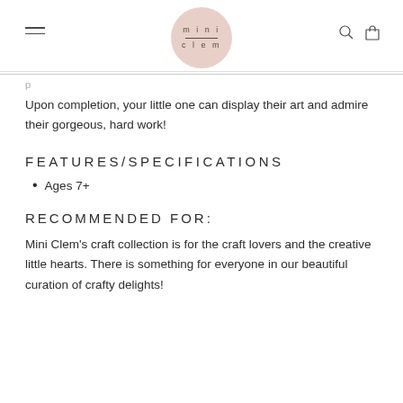mini clem
Upon completion, your little one can display their art and admire their gorgeous, hard work!
FEATURES/SPECIFICATIONS
Ages 7+
RECOMMENDED FOR:
Mini Clem's craft collection is for the craft lovers and the creative little hearts. There is something for everyone in our beautiful curation of crafty delights!